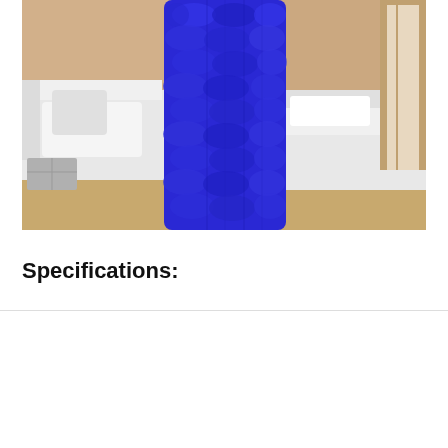[Figure (photo): A bright blue chunky knit blanket/throw held up in a bedroom setting with white sofa and white bed in the background, beige walls and wood floor.]
Specifications:
ONLY 17 LEFT
BUY NOW !